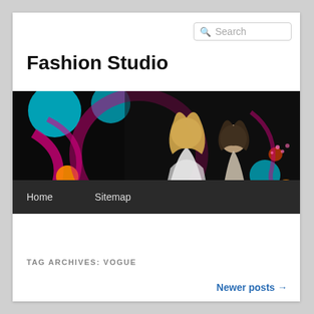Search
Fashion Studio
[Figure (photo): Fashion banner showing two women models against a colorful dark background with pink ribbons, teal circles, and orange bokeh lights. Navigation bar below with Home and Sitemap links.]
TAG ARCHIVES: VOGUE
Newer posts →